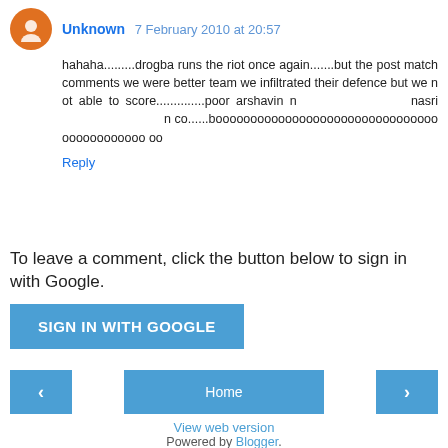Unknown  7 February 2010 at 20:57
hahaha.........drogba runs the riot once again.......but the post match comments we were better team we infiltrated their defence but we not able to score..............poor arshavin n nasri n co......boooooooooooooooooooooooooooooooooooooooooooo
Reply
To leave a comment, click the button below to sign in with Google.
[Figure (other): SIGN IN WITH GOOGLE button]
[Figure (other): Navigation bar with left arrow, Home button, and right arrow]
View web version
Powered by Blogger.